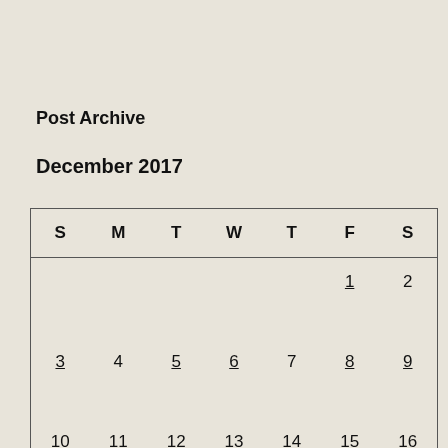Post Archive
December 2017
| S | M | T | W | T | F | S |
| --- | --- | --- | --- | --- | --- | --- |
|  |  |  |  |  | 1 | 2 |
| 3 | 4 | 5 | 6 | 7 | 8 | 9 |
| 10 | 11 | 12 | 13 | 14 | 15 | 16 |